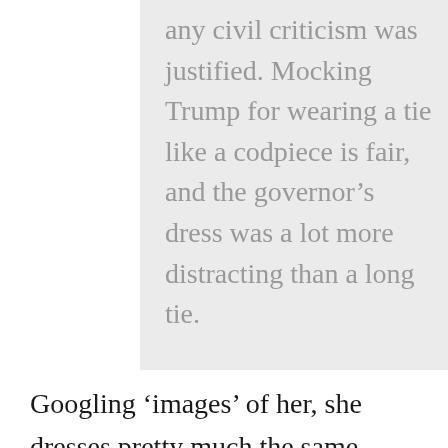any civil criticism was justified. Mocking Trump for wearing a tie like a codpiece is fair, and the governor’s dress was a lot more distracting than a long tie.
Googling ‘images’ of her, she dresses pretty much the same.